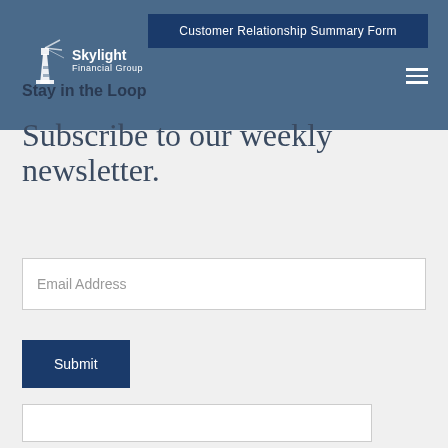Customer Relationship Summary Form
[Figure (logo): Skylight Financial Group lighthouse logo with text]
Stay in the Loop
Subscribe to our weekly newsletter.
Email Address (input field placeholder)
Submit (button)